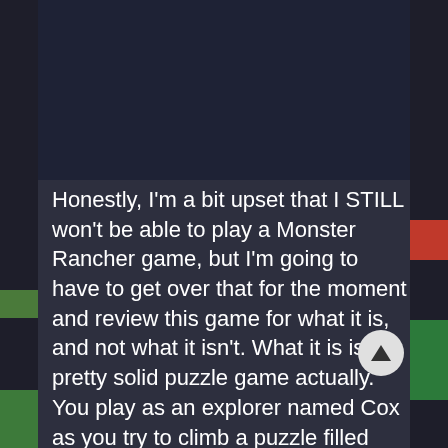Honestly, I'm a bit upset that I STILL won't be able to play a Monster Rancher game, but I'm going to have to get over that for the moment and review this game for what it is, and not what it isn't. What it is is a pretty solid puzzle game actually. You play as an explorer named Cox as you try to climb a puzzle filled tower to fight some legendary monster named Nada who resides at the top. The basic goal of each of the levels is to first collect the key and then head to the exit. You accomplish this by creating and